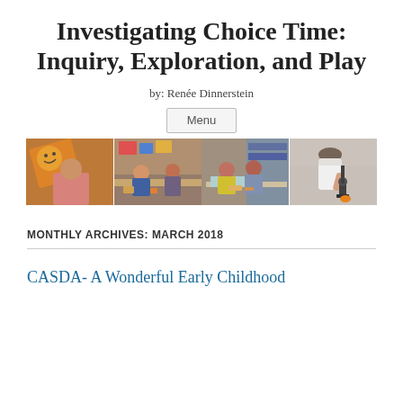Investigating Choice Time: Inquiry, Exploration, and Play
by: Renée Dinnerstein
Menu
[Figure (photo): A horizontal strip of four classroom photos showing young children engaged in various activities including holding up an orange smiley face cutout, working with materials at tables, and looking through a microscope.]
MONTHLY ARCHIVES: MARCH 2018
CASDA- A Wonderful Early Childhood